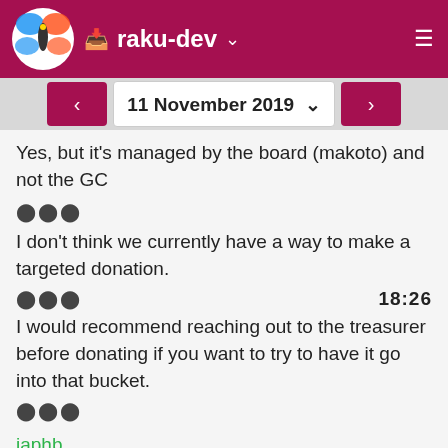raku-dev
11 November 2019
Yes, but it's managed by the board (makoto) and not the GC
• • •
I don't think we currently have a way to make a targeted donation.
• • •   18:26
I would recommend reaching out to the treasurer before donating if you want to try to have it go into that bucket.
• • •
japhb
lizmat: The first two OpenGL tutorial links are pointing to